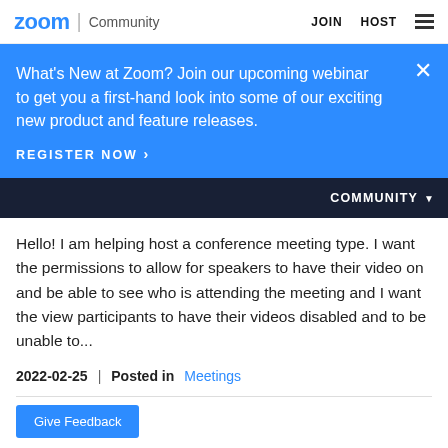zoom | Community   JOIN   HOST
What's New at Zoom? Join our upcoming webinar to get you a first-hand look into some of our exciting new product and feature releases.
REGISTER NOW >
COMMUNITY
Hello! I am helping host a conference meeting type. I want the permissions to allow for speakers to have their video on and be able to see who is attending the meeting and I want the view participants to have their videos disabled and to be unable to...
2022-02-25   |   Posted in Meetings